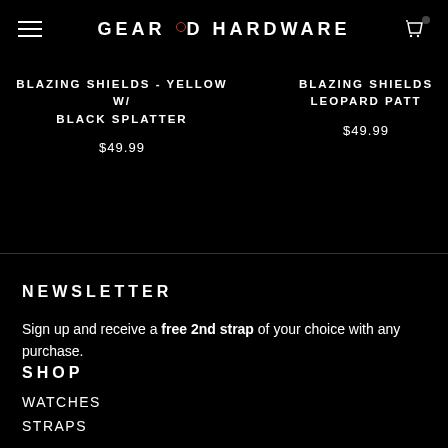GEAR D HARDWARE
BLAZING SHIELDS - YELLOW W/ BLACK SPLATTER
$49.99
BLAZING SHIELDS LEOPARD PATT
$49.99
NEWSLETTER
Sign up and receive a free 2nd strap of your choice with any purchase.
SHOP
WATCHES
STRAPS